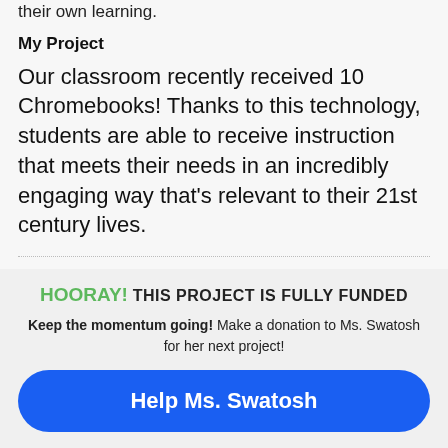their own learning.
My Project
Our classroom recently received 10 Chromebooks! Thanks to this technology, students are able to receive instruction that meets their needs in an incredibly engaging way that's relevant to their 21st century lives.
HOORAY! THIS PROJECT IS FULLY FUNDED
Keep the momentum going! Make a donation to Ms. Swatosh for her next project!
Help Ms. Swatosh